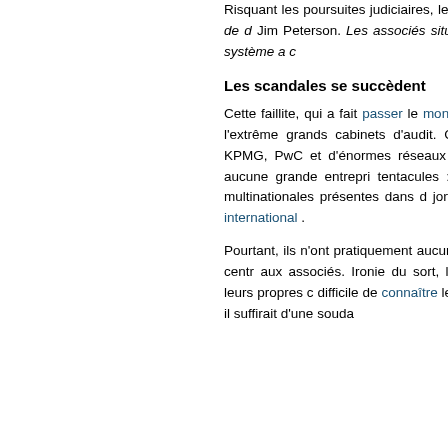Risquant les poursuites judiciaires, le faillite. « Il s'est écroulé en moins de d Jim Peterson. Les associés situés à premiers à partir , et tout le système a c
Les scandales se succèdent
Cette faillite, qui a fait passer le monde Big Four », a mis en évidence l'extrême grands cabinets d'audit. Cela peut p apparence, Deloitte, KPMG, PwC et d'énormes réseaux internationaux, qui Pratiquement aucune grande entrepri tentacules : les quatre grands sont les des multinationales présentes dans d jonglant entre les paradis fiscaux et international .
Pourtant, ils n'ont pratiquement aucune sont des réseaux, sans holding centr aux associés. Ironie du sort, les Big Fou peu transparents sur leurs propres c difficile de connaître leur état financier. de Jim Peterson, il suffirait d'une souda